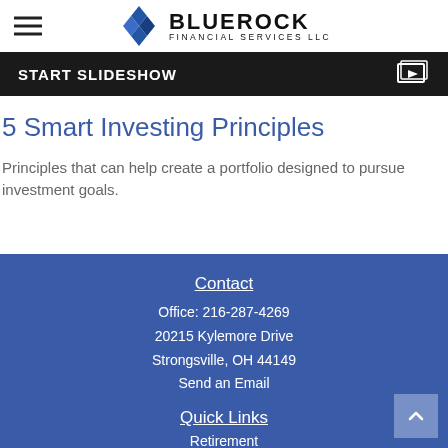Bluerock Financial Services LLC
[Figure (other): Dark banner with START SLIDESHOW text and a slideshow/play icon on the right]
5 Smart Investing Principles
Principles that can help create a portfolio designed to pursue investment goals.
Contact
Office: 216-287-4269
20215 Kylemore Drive
Strongsville, OH 44149
Send an Email

Quick Links
Retirement